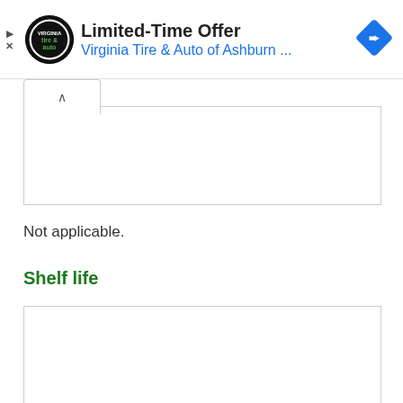[Figure (infographic): Advertisement banner for Virginia Tire & Auto of Ashburn with logo, title 'Limited-Time Offer', subtitle 'Virginia Tire & Auto of Ashburn ...', navigation arrow icon, play and close icons on left side.]
Not applicable.
Shelf life